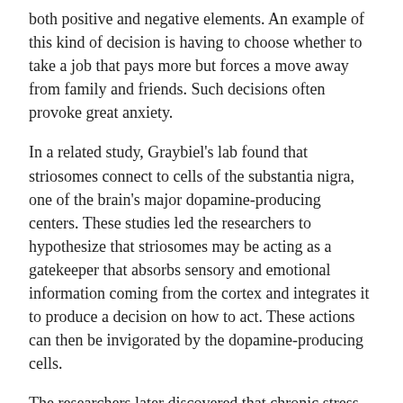both positive and negative elements. An example of this kind of decision is having to choose whether to take a job that pays more but forces a move away from family and friends. Such decisions often provoke great anxiety.
In a related study, Graybiel's lab found that striosomes connect to cells of the substantia nigra, one of the brain's major dopamine-producing centers. These studies led the researchers to hypothesize that striosomes may be acting as a gatekeeper that absorbs sensory and emotional information coming from the cortex and integrates it to produce a decision on how to act. These actions can then be invigorated by the dopamine-producing cells.
The researchers later discovered that chronic stress has a major impact on this circuit and on this kind of emotional decision-making. In a 2017 study performed in rats and mice, they showed that stressed animals were far more likely to choose high-risk, high-payoff options, but that they could block this effect by manipulating the circuit.
In the new Cell study, the researchers set out to investigate